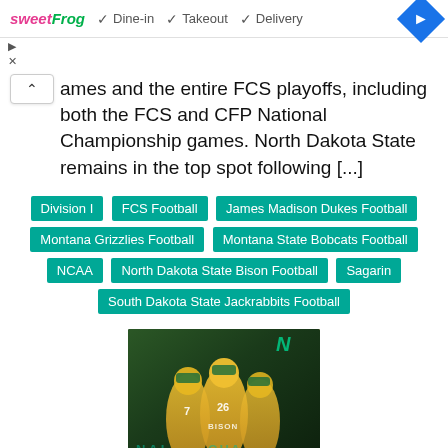[Figure (screenshot): sweetFrog ad bar with Dine-in, Takeout, Delivery checkmarks and navigation diamond icon]
ames and the entire FCS playoffs, including both the FCS and CFP National Championship games. North Dakota State remains in the top spot following [...]
Division I
FCS Football
James Madison Dukes Football
Montana Grizzlies Football
Montana State Bobcats Football
NCAA
North Dakota State Bison Football
Sagarin
South Dakota State Jackrabbits Football
[Figure (photo): NDSU Bison football players in green and yellow uniforms, championship promotional image]